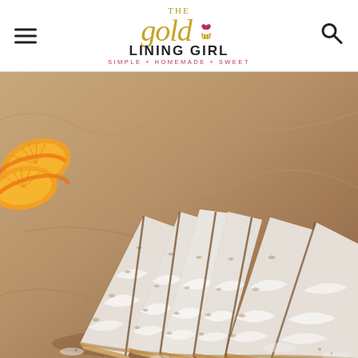[Figure (logo): The Gold Lining Girl logo with hamburger menu on left and search icon on right. Logo features script 'gold' text in gold color with a cupcake icon, 'LINING GIRL' in bold uppercase, and tagline 'SIMPLE + HOMEMADE + SWEET' in pink.]
[Figure (photo): Close-up photo of triangular pastry/cake slices dusted with powdered sugar, fanned out on crinkled brown parchment paper. Orange slices visible in upper left corner.]